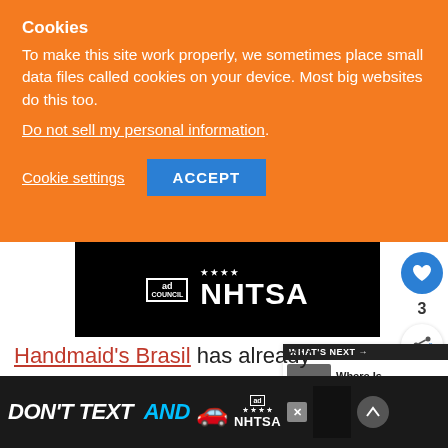Cookies
To make this site work properly, we sometimes place small data files called cookies on your device. Most big websites do this too.
Do not sell my personal information.
Cookie settings  ACCEPT
[Figure (logo): Ad Council and NHTSA logo on black background]
3
Handmaid's Brasil has already released episode titles. The dates are dates we have
WHAT'S NEXT → Where Is Westworld...
DON'T TEXT AND [car emoji]